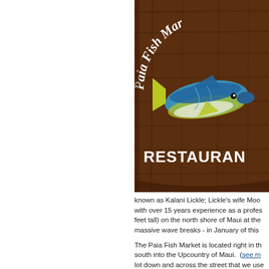[Figure (photo): Paia Fish Market Restaurant sign on a dark wood background with a colorful painted fish (tuna/mahi) and text 'Paia Fish Mar...' at top and 'RESTAURAN...' at bottom, partially cropped on the right.]
known as Kalani Lickle; Lickle's wife Moo... with over 15 years experience as a profes... feet tall) on the north shore of Maui at the... massive wave breaks - in January of this...
The Paia Fish Market is located right in th... south into the Upcountry of Maui. (see m... lot down and across the street that we use...
It's not really a fish market where you can... inside of the place isn't all that big and is p... after 2 p.m. so the crowd wasn't too bad,... "line out the door" developed again.